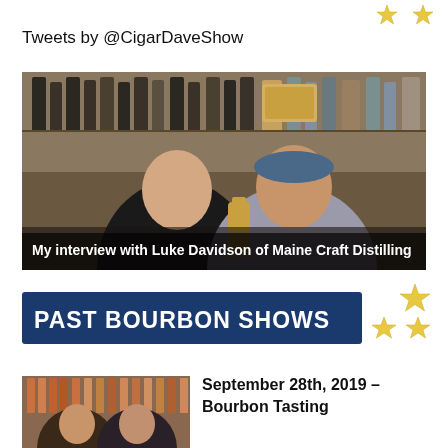Tweets by @CigarDaveShow
[Figure (photo): Two men posing together in front of shelves of bottles/spirits, one holding a bottle. Caption: 'My interview with Luke Davidson of Maine Craft Distilling']
My interview with Luke Davidson of Maine Craft Distilling
[Figure (infographic): Banner reading PAST BOURBON SHOWS with gold stars decoration]
[Figure (photo): Two people in front of shelves with bottles]
September 28th, 2019 – Bourbon Tasting